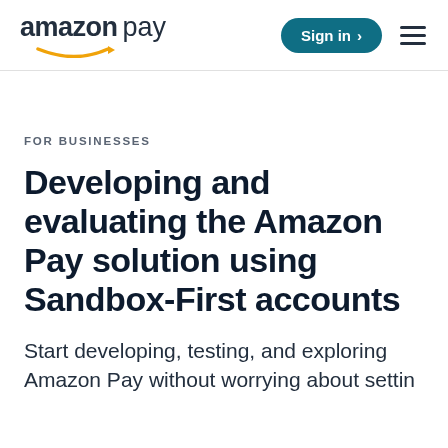amazon pay — Sign in
FOR BUSINESSES
Developing and evaluating the Amazon Pay solution using Sandbox-First accounts
Start developing, testing, and exploring Amazon Pay without worrying about setting